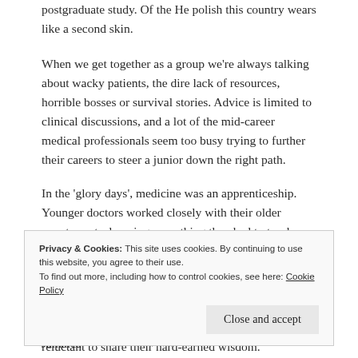postgraduate study. Of the He polish this country wears like a second skin.
When we get together as a group we're always talking about wacky patients, the dire lack of resources, horrible bosses or survival stories. Advice is limited to clinical discussions, and a lot of the mid-career medical professionals seem too busy trying to further their careers to steer a junior down the right path.
In the 'glory days', medicine was an apprenticeship. Younger doctors worked closely with their older counterparts, learning everything they had to teach about the human condition (medical and social). At the same time, medicine was a lot more paternalistic with physicians adopting an almost godlike role in society. So some change is for the better. But now most doctors play their cards close to the vest, for some reason reluctant to share their hard-earned wisdom.
Privacy & Cookies: This site uses cookies. By continuing to use this website, you agree to their use. To find out more, including how to control cookies, see here: Cookie Policy
hundreds of hungry indebted interns every year. In Jamaica